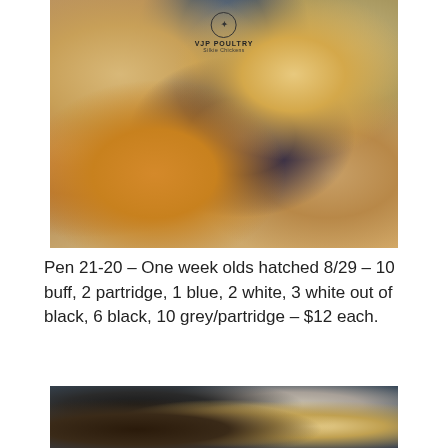[Figure (photo): Group of baby silkie chicks of various colors — buff, partridge, blue, white, grey, and black — huddled together. A VJP Poultry Silkie Chickens logo appears at the top center of the image.]
Pen 21-20 – One week olds hatched 8/29 – 10 buff, 2 partridge, 1 blue, 2 white, 3 white out of black, 6 black, 10 grey/partridge – $12 each.
[Figure (photo): Partial view of baby silkie chicks on a dark metallic surface, showing dark-colored and light-colored chicks.]